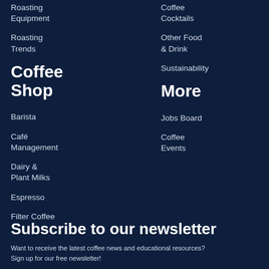Roasting Equipment
Roasting Trends
Coffee Shop
Barista
Café Management
Dairy & Plant Milks
Espresso
Filter Coffee
Coffee Cocktails
Other Food & Drink
Sustainability
More
Jobs Board
Coffee Events
Subscribe to our newsletter
Want to receive the latest coffee news and educational resources? Sign up for our free newsletter!